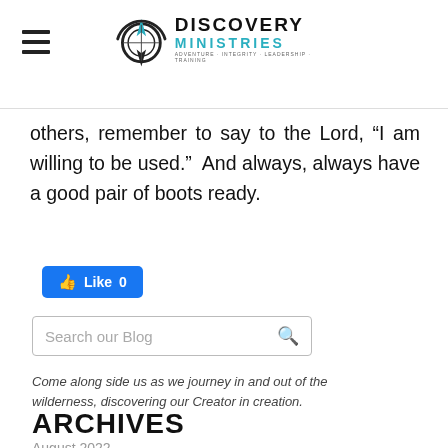Discovery Ministries logo with hamburger menu
others, remember to say to the Lord, “I am willing to be used.”  And always, always have a good pair of boots ready.
[Figure (screenshot): Facebook Like button showing 'Like 0']
[Figure (screenshot): Search our Blog input field with search icon]
Come along side us as we journey in and out of the wilderness, discovering our Creator in creation.
ARCHIVES
August 2022